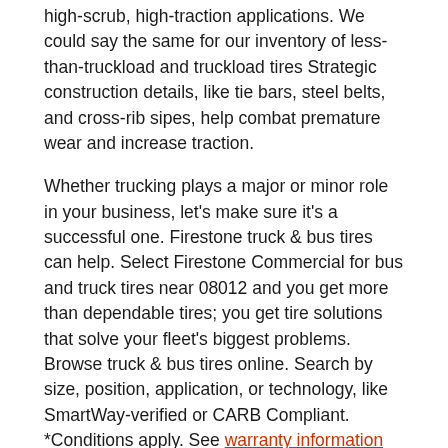high-scrub, high-traction applications. We could say the same for our inventory of less-than-truckload and truckload tires Strategic construction details, like tie bars, steel belts, and cross-rib sipes, help combat premature wear and increase traction.
Whether trucking plays a major or minor role in your business, let's make sure it's a successful one. Firestone truck & bus tires can help. Select Firestone Commercial for bus and truck tires near 08012 and you get more than dependable tires; you get tire solutions that solve your fleet's biggest problems. Browse truck & bus tires online. Search by size, position, application, or technology, like SmartWay-verified or CARB Compliant. *Conditions apply. See warranty information for details.
Dependable. Durable. Guaranteed.™
Give these tires 90 days. If they don't live up to your expectations, just give them back.* That's the 90-Day Buy and Try Guarantee™.
GET THE DETAILS